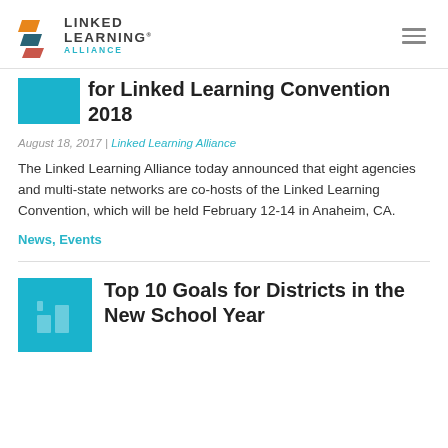LINKED LEARNING ALLIANCE
for Linked Learning Convention 2018
August 18, 2017 | Linked Learning Alliance
The Linked Learning Alliance today announced that eight agencies and multi-state networks are co-hosts of the Linked Learning Convention, which will be held February 12-14 in Anaheim, CA.
News, Events
Top 10 Goals for Districts in the New School Year